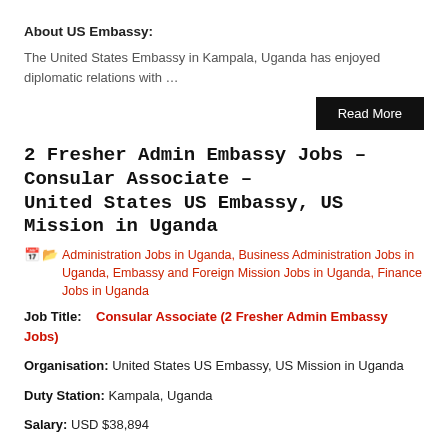About US Embassy:
The United States Embassy in Kampala, Uganda has enjoyed diplomatic relations with …
Read More
2 Fresher Admin Embassy Jobs – Consular Associate – United States US Embassy, US Mission in Uganda
Administration Jobs in Uganda, Business Administration Jobs in Uganda, Embassy and Foreign Mission Jobs in Uganda, Finance Jobs in Uganda
Job Title: Consular Associate (2 Fresher Admin Embassy Jobs)
Organisation: United States US Embassy, US Mission in Uganda
Duty Station: Kampala, Uganda
Salary: USD $38,894